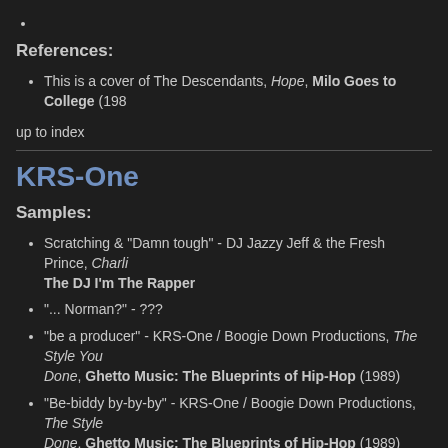•
References:
This is a cover of The Descendants, Hope, Milo Goes to College (198…
up to index
KRS-One
Samples:
Scratching & "Damn tough" - DJ Jazzy Jeff & the Fresh Prince, Charlie… The DJ I'm The Rapper
"... Norman?" - ???
"be a producer" - KRS-One / Boogie Down Productions, The Style You… Done, Ghetto Music: The Blueprints of Hip-Hop (1989)
"Be-biddy by-by-by" - KRS-One / Boogie Down Productions, The Style… Done, Ghetto Music: The Blueprints of Hip-Hop (1989)
Piano melody at 1:21 - The Four-Legged Zoo, Schoolhouse Rock! (19…